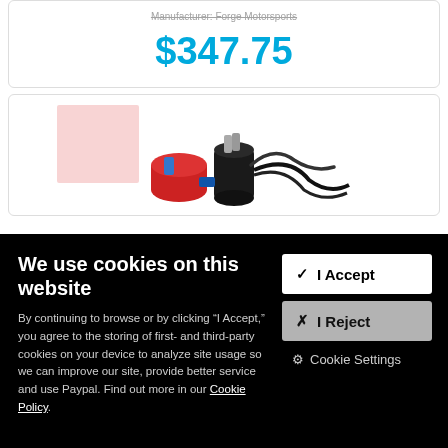Manufacturer: Forge Motorsports
$347.75
[Figure (photo): Product image showing automotive parts/components including what appears to be a valve or actuator kit with cables and fittings against a white background, with a pink placeholder box visible]
We use cookies on this website
By continuing to browse or by clicking “I Accept,” you agree to the storing of first- and third-party cookies on your device to analyze site usage so we can improve our site, provide better service and use Paypal. Find out more in our Cookie Policy.
✓  I Accept
✕  I Reject
⚙  Cookie Settings